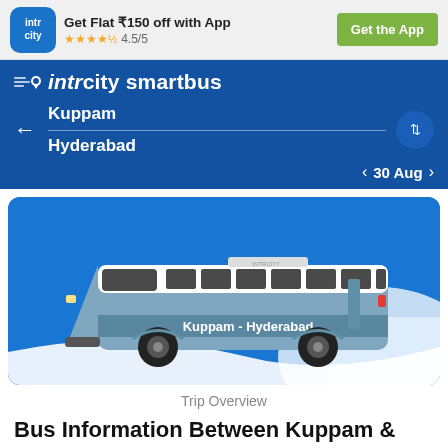[Figure (screenshot): IntrCity app top ad banner with logo, rating stars 4.5/5, Get Flat ₹150 off with App text, and Get the App green button]
[Figure (screenshot): IntrCity SmartBus navigation header with route Kuppam to Hyderabad, swap button, back arrow, and date 30 Aug with chevrons]
[Figure (illustration): Blue and white intercity bus illustration with text Kuppam - Hyderabad on the side, on a blue background card]
Trip Overview
Bus Information Between Kuppam & Hyderabad